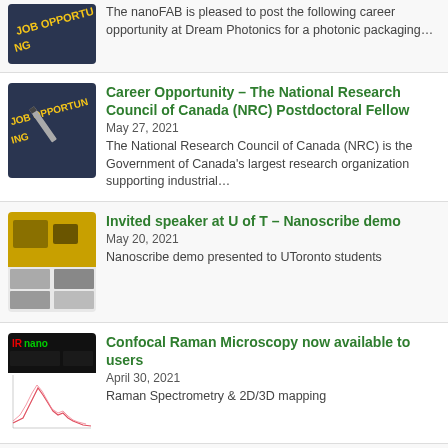[Figure (photo): Job Opportunity sign with text clipped at top]
The nanoFAB is pleased to post the following career opportunity at Dream Photonics for a photonic packaging…
[Figure (photo): Job Opportunity sign image]
Career Opportunity – The National Research Council of Canada (NRC) Postdoctoral Fellow
May 27, 2021
The National Research Council of Canada (NRC) is the Government of Canada's largest research organization supporting industrial…
[Figure (photo): Lab cleanroom with yellow lighting and microscopy images]
Invited speaker at U of T – Nanoscribe demo
May 20, 2021
Nanoscribe demo presented to UToronto students
[Figure (photo): Confocal Raman microscopy equipment and spectral map]
Confocal Raman Microscopy now available to users
April 30, 2021
Raman Spectrometry & 2D/3D mapping
[Figure (photo): Abstract colorful circles newsletter cover image]
Winter 2021 Newsletter
February 16, 2021
Winter 2021 Newsletter This email is provided as an update regarding ongoing activities within the nanoFAB…